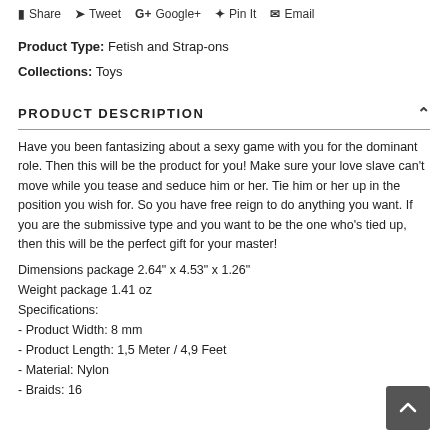Share  Tweet  Google+  Pin It  Email
Product Type: Fetish and Strap-ons
Collections: Toys
PRODUCT DESCRIPTION
Have you been fantasizing about a sexy game with you for the dominant role. Then this will be the product for you! Make sure your love slave can't move while you tease and seduce him or her. Tie him or her up in the position you wish for. So you have free reign to do anything you want. If you are the submissive type and you want to be the one who's tied up, then this will be the perfect gift for your master!
Dimensions package 2.64" x 4.53" x 1.26"
Weight package 1.41 oz
Specifications:
- Product Width: 8 mm
- Product Length: 1,5 Meter / 4,9 Feet
- Material: Nylon
- Braids: 16